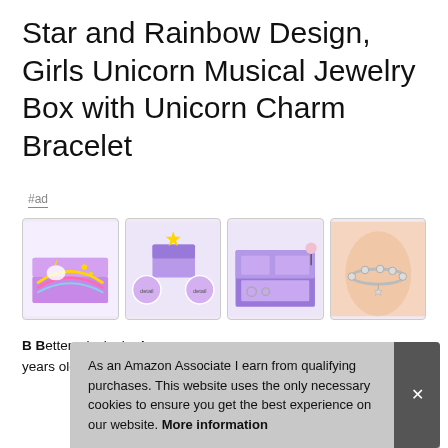Star and Rainbow Design, Girls Unicorn Musical Jewelry Box with Unicorn Charm Bracelet
#ad
[Figure (photo): Four product photos: unicorn jewelry box exterior, exploded view of box features, open box with jewelry compartments, and wrist wearing a charm bracelet]
B B... better... includ... is. A... years old. It's a great jewelry box for girl family members or
As an Amazon Associate I earn from qualifying purchases. This website uses the only necessary cookies to ensure you get the best experience on our website. More information